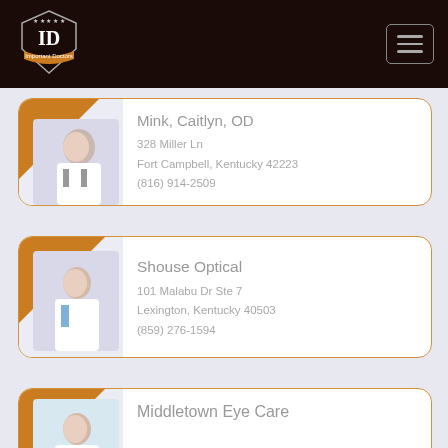[Figure (logo): Important Doctors shield logo with ID monogram and orange banner on dark background]
Mink, Caitlyn, OD
328 Miller Ln
Fort Campbell, Kentucky 42223
(816) 914-2509
Shouse Optical
101 Malabu Dr Ste 7
Lexington, Kentucky 40503
(859) 276-1594
Middletown Eye Care